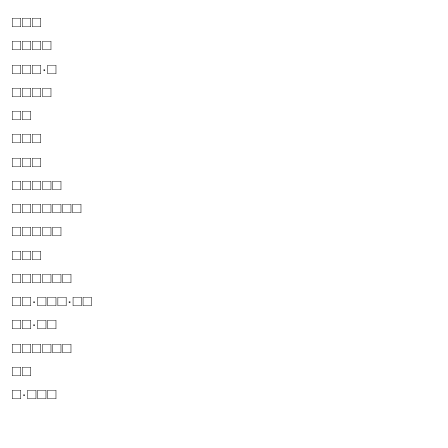□□□
□□□□
□□□·□
□□□□
□□
□□□
□□□
□□□□□
□□□□□□□
□□□□□
□□□
□□□□□□
□□·□□□·□□
□□·□□
□□□□□□
□□
□·□□□